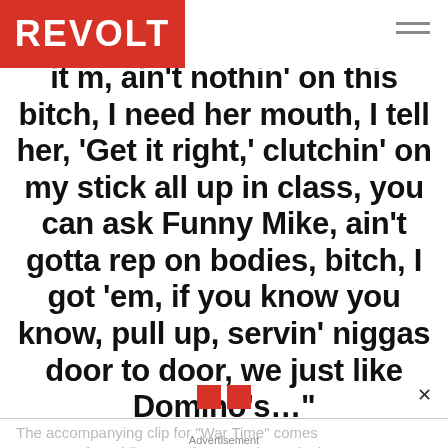REVOLT
it m, ain't nothin' on this bitch, I need her mouth, I tell her, 'Get it right,' clutchin' on my stick all up in class, you can ask Funny Mike, ain't gotta rep on bodies, bitch, I got 'em, if you know you know, pull up, servin' niggas door to door, we just like Domino's…"
The accompanying clip for "War Time" comes courtesy of Freddie go to chapter Jolo, and mines